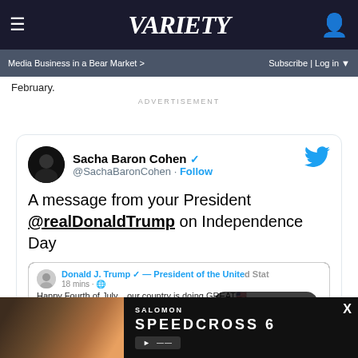VARIETY — Media Business in a Bear Market > | Subscribe | Log in
February.
ADVERTISEMENT
[Figure (screenshot): Embedded tweet from @SachaBaronCohen: 'A message from your President @realDonaldTrump on Independence Day', with nested Trump tweet showing 'Happy Fourth of July... our country is doing GREAT' and a 'Watch on Twitter' overlay button.]
[Figure (photo): Salomon Speedcross 6 advertisement banner with trail running shoe imagery on the left and product name on the right.]